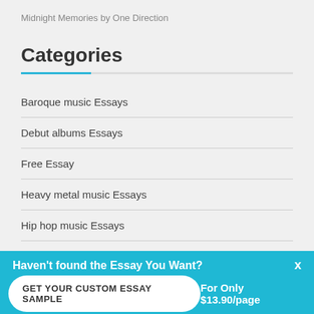Midnight Memories by One Direction
Categories
Baroque music Essays
Debut albums Essays
Free Essay
Heavy metal music Essays
Hip hop music Essays
Jazz Essays
Haven't found the Essay You Want?
GET YOUR CUSTOM ESSAY SAMPLE
For Only $13.90/page